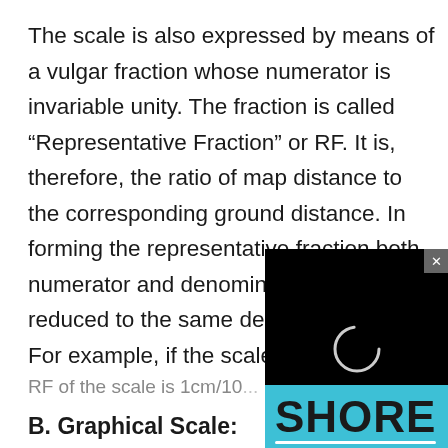The scale is also expressed by means of a vulgar fraction whose numerator is invariable unity. The fraction is called “Representative Fraction” or RF. It is, therefore, the ratio of map distance to the corresponding ground distance. In forming the representative fraction both numerator and denominator must be reduced to the same denomination.
For example, if the scale
RF of the scale is 1cm/10...
B. Graphical Scale:
[Figure (other): A black video player overlay panel with a loading spinner circle in the center, and a close button (x) in the top-right corner.]
[Figure (other): A teal/cyan banner with bold black text reading SHORE and a white underline beneath the text.]